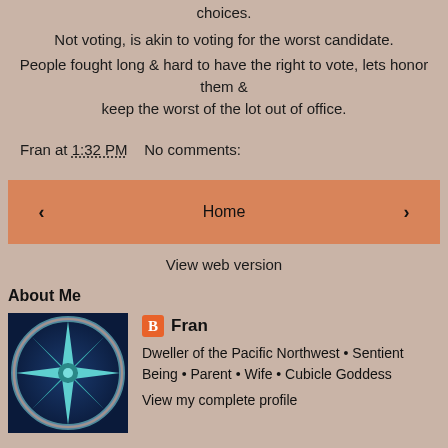choices.
Not voting, is akin to voting for the worst candidate.
People fought long & hard to have the right to vote, lets honor them & keep the worst of the lot out of office.
Fran at 1:32 PM    No comments:
[Figure (other): Navigation buttons: left arrow, Home button, right arrow]
View web version
About Me
[Figure (illustration): Profile image: compass rose star on dark blue background with iridescent rainbow rim]
Fran
Dweller of the Pacific Northwest • Sentient Being • Parent • Wife • Cubicle Goddess
View my complete profile
Powered by Blogger.